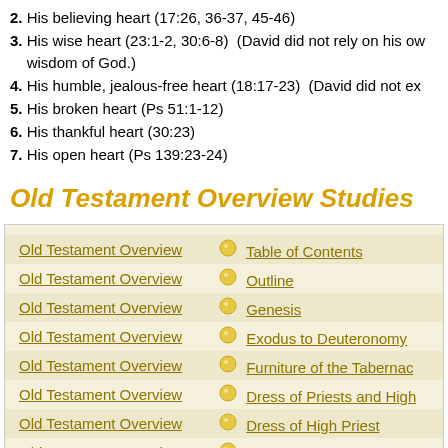2. His believing heart (17:26, 36-37, 45-46)
3. His wise heart (23:1-2, 30:6-8)  (David did not rely on his own wisdom of God.)
4. His humble, jealous-free heart (18:17-23)  (David did not ex...
5. His broken heart (Ps 51:1-12)
6. His thankful heart (30:23)
7. His open heart (Ps 139:23-24)
Old Testament Overview Studies
| Study | Topic |
| --- | --- |
| Old Testament Overview | Table of Contents |
| Old Testament Overview | Outline |
| Old Testament Overview | Genesis |
| Old Testament Overview | Exodus to Deuteronomy |
| Old Testament Overview | Furniture of the Tabernacle |
| Old Testament Overview | Dress of Priests and High... |
| Old Testament Overview | Dress of High Priest |
| Old Testament Overview | Canaan: What Can it Tea... |
| Old Testament Overview | Israel, God's Kingdom |
| Old Testament Overview | Moses – Failure the Bac... |